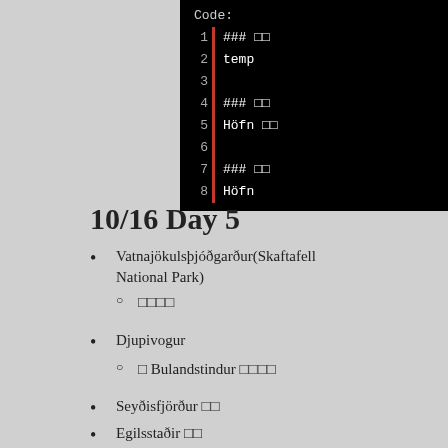[Figure (screenshot): Code block on black background showing 8 lines of markdown-style code with line numbers and a red vertical bar. Lines 1-2: '### □□' and 'temp'; Lines 3: empty; Lines 4-5: '### □□' and 'Höfn □□'; Line 6: empty; Lines 7-8: '### □□' and 'Höfn'. Label 'Code:' at top.]
10/16 Day 5
Vatnajökulsþjóðgarður(Skaftafell National Park)
○  □□□□
Djupivogur
○  □ Bulandstindur □□□□
Seyðisfjörður □□
Egilsstaðir □□